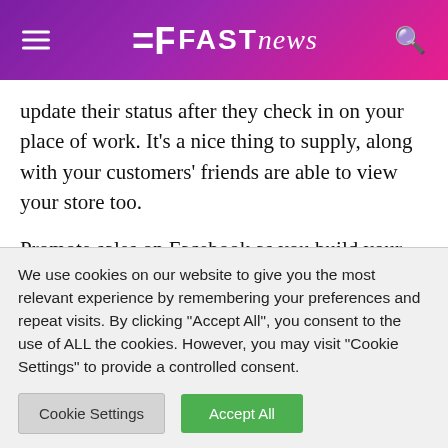FAST news
update their status after they check in on your place of work. It's a nice thing to supply, along with your customers' friends are able to view your store too.
Promote sales on Facebook as you build your list of friends and followers. Coupons or special deals and promotions could be used to gain new friends and also to reward long-term customers. When you don't
We use cookies on our website to give you the most relevant experience by remembering your preferences and repeat visits. By clicking "Accept All", you consent to the use of ALL the cookies. However, you may visit "Cookie Settings" to provide a controlled consent.